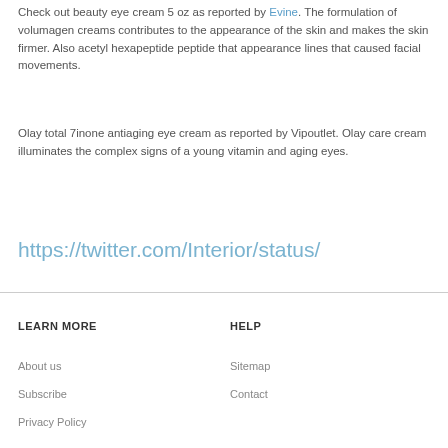Check out beauty eye cream 5 oz as reported by Evine. The formulation of volumagen creams contributes to the appearance of the skin and makes the skin firmer. Also acetyl hexapeptide peptide that appearance lines that caused facial movements.
Olay total 7inone antiaging eye cream as reported by Vipoutlet. Olay care cream illuminates the complex signs of a young vitamin and aging eyes.
https://twitter.com/Interior/status/
LEARN MORE
HELP
About us
Sitemap
Subscribe
Contact
Privacy Policy